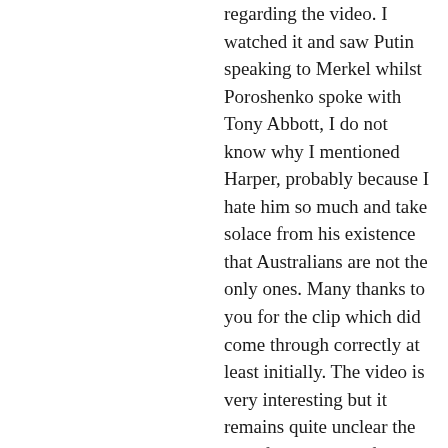regarding the video. I watched it and saw Putin speaking to Merkel whilst Poroshenko spoke with Tony Abbott, I do not know why I mentioned Harper, probably because I hate him so much and take solace from his existence that Australians are not the only ones. Many thanks to you for the clip which did come through correctly at least initially. The video is very interesting but it remains quite unclear the specific elements of the Ukrainian power structure responsible for this atrocity